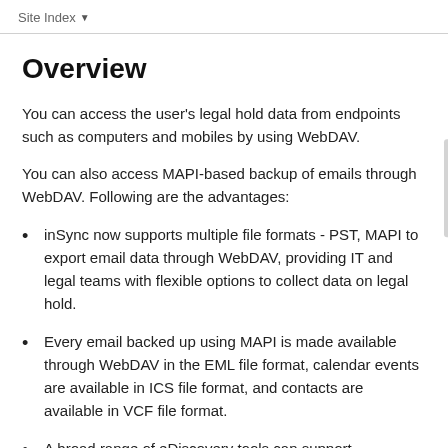Site Index
Overview
You can access the user's legal hold data from endpoints such as computers and mobiles by using WebDAV.
You can also access MAPI-based backup of emails through WebDAV. Following are the advantages:
inSync now supports multiple file formats - PST, MAPI to export email data through WebDAV, providing IT and legal teams with flexible options to collect data on legal hold.
Every email backed up using MAPI is made available through WebDAV in the EML file format, calendar events are available in ICS file format, and contacts are available in VCF file format.
A broad range of eDiscovery tools can support